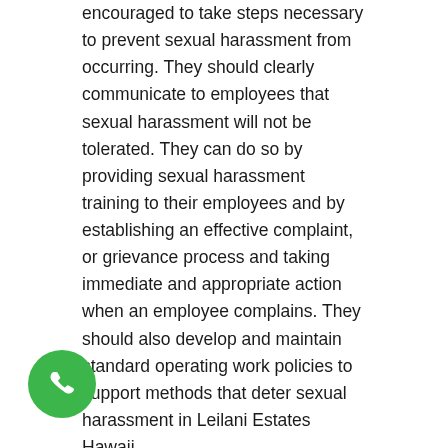encouraged to take steps necessary to prevent sexual harassment from occurring. They should clearly communicate to employees that sexual harassment will not be tolerated. They can do so by providing sexual harassment training to their employees and by establishing an effective complaint, or grievance process and taking immediate and appropriate action when an employee complains. They should also develop and maintain standard operating work policies to support methods that deter sexual harassment in Leilani Estates Hawaii.
Reducing workplace sexual harassment in Leilani Estates Hawaii through leadership.
Leadership and workplace culture may have positive effect on the reduction of sexual harassment in the workplace through harassment prevention efforts that